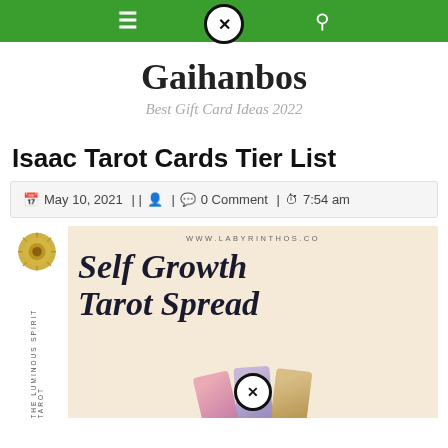Navigation bar with menu, close, and search icons
Gaihanbos
Best Gift Card Ideas 2022
Isaac Tarot Cards Tier List
May 10, 2021 || [author icon] | [comment icon] 0 Comment | [clock icon] 7:54 am
[Figure (illustration): Self Growth Tarot Spread promotional image from www.labyrinthos.co, with medallion logo, vertical text 'THE LUMINOUS SPIRIT TAROT', italic serif heading 'Self Growth Tarot Spread', and three tarot cards at the bottom in pink, lavender, and gold with a close button overlay.]